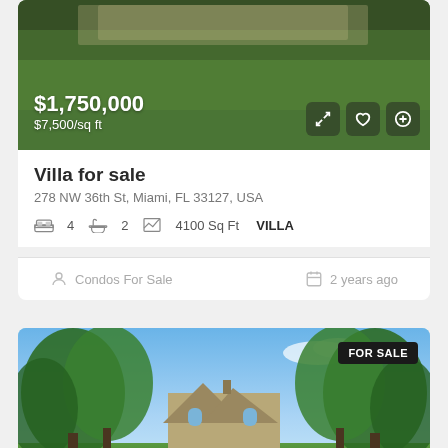[Figure (photo): Aerial or exterior view of a property with green lawn, overlaid with price $1,750,000 and $7,500/sq ft, plus action icon buttons]
Villa for sale
278 NW 36th St, Miami, FL 33127, USA
4  2  4100 Sq Ft  VILLA
Condos For Sale
2 years ago
[Figure (photo): Exterior photo of a large house surrounded by lush green trees with blue sky, FOR SALE badge in top right corner]